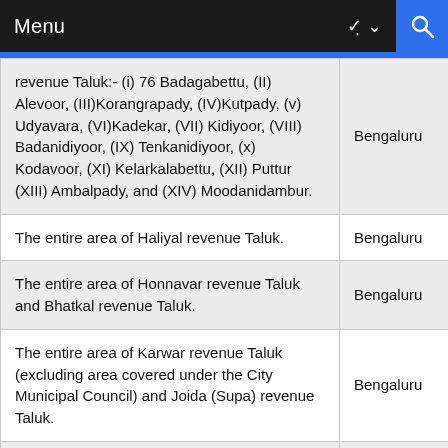Menu
| Description | Jurisdiction |
| --- | --- |
| revenue Taluk:- (i) 76 Badagabettu, (II) Alevoor, (III)Korangrapady, (IV)Kutpady, (v) Udyavara, (VI)Kadekar, (VII) Kidiyoor, (VIII) Badanidiyoor, (IX) Tenkanidiyoor, (x) Kodavoor, (XI) Kelarkalabettu, (XII) Puttur (XIII) Ambalpady, and (XIV) Moodanidambur. | Bengaluru |
| The entire area of Haliyal revenue Taluk. | Bengaluru |
| The entire area of Honnavar revenue Taluk and Bhatkal revenue Taluk. | Bengaluru |
| The entire area of Karwar revenue Taluk (excluding area covered under the City Municipal Council) and Joida (Supa) revenue Taluk. | Bengaluru |
| The area covered under the City Municipal Council in Karwar revenue | Bengaluru |